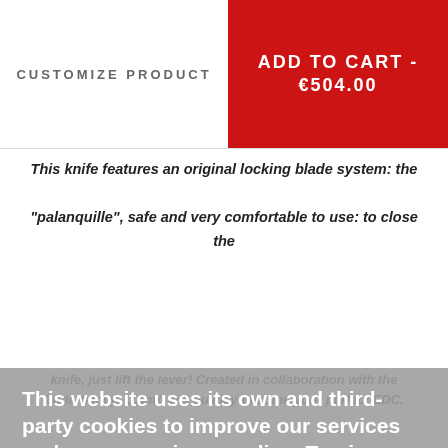CUSTOMIZE PRODUCT
ADD TO CART - €504.00
This knife features an original locking blade system: the "palanquille", safe and very comfortable to use: to close the knife, just lift the lever! Created in collaboration with the Zuria family, L'Antò will quickly become your perfect EDC.
This website uses its own and third-party cookies to improve our services and your experience online. To give your consent to its use, press the Accept button.
More information   Customize Cookies
Corsican knife L'Antò
REJECT ALL
I ACCEPT